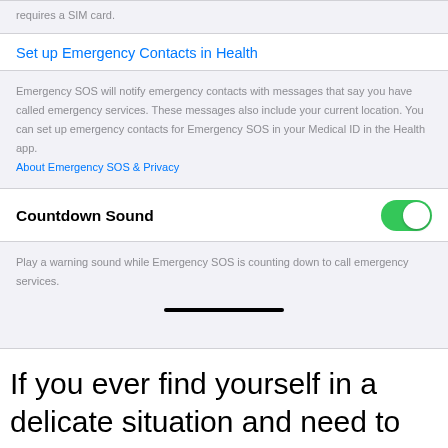When using Emergency SOS in certain regions, Auto-Call requires a SIM card.
Set up Emergency Contacts in Health
Emergency SOS will notify emergency contacts with messages that say you have called emergency services. These messages also include your current location. You can set up emergency contacts for Emergency SOS in your Medical ID in the Health app.
About Emergency SOS & Privacy
Countdown Sound
Play a warning sound while Emergency SOS is counting down to call emergency services.
If you ever find yourself in a delicate situation and need to be discreet, the "Call with Side button" option allows you to alter the way the process is triggered.